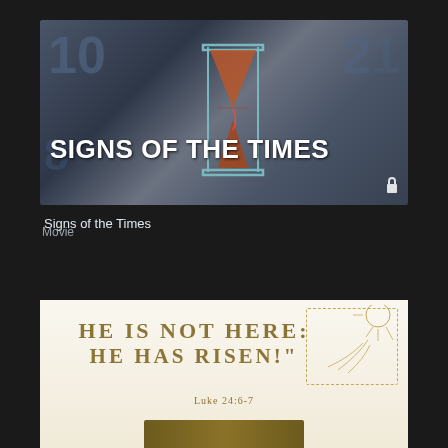[Figure (screenshot): Thumbnail image for 'Signs of the Times' movie showing an hourglass against a clock background with bold white text overlay]
Signs of the Times
Movie
[Figure (illustration): Religious graphic with cream/gold background showing 'HE IS NOT HERE: HE HAS RISEN!' text in bold gold serif font, with sun line art decoration, Luke 24:6-7 reference, and a gold banner at the bottom]